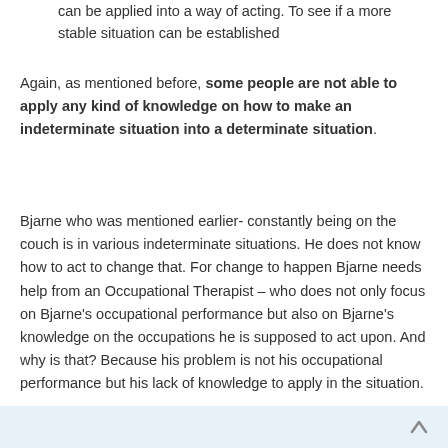can be applied into a way of acting. To see if a more stable situation can be established
Again, as mentioned before, some people are not able to apply any kind of knowledge on how to make an indeterminate situation into a determinate situation.
Bjarne who was mentioned earlier- constantly being on the couch is in various indeterminate situations. He does not know how to act to change that. For change to happen Bjarne needs help from an Occupational Therapist – who does not only focus on Bjarne's occupational performance but also on Bjarne's knowledge on the occupations he is supposed to act upon. And why is that? Because his problem is not his occupational performance but his lack of knowledge to apply in the situation.